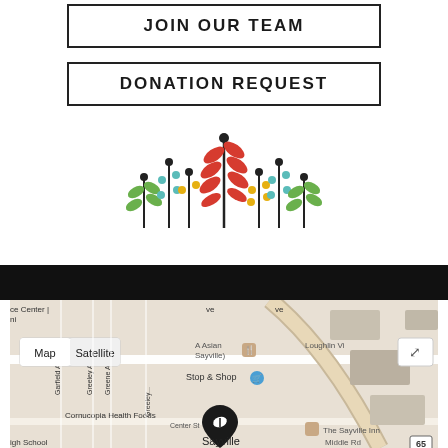JOIN OUR TEAM
DONATION REQUEST
[Figure (illustration): Decorative plant/wheat illustration with colorful elements in red, green, teal, yellow and black stems]
[Figure (map): Google Maps screenshot showing Sayville area with Map/Satellite toggle, showing Stop & Shop, Cornucopia Health Foods, The Sayville Inn, Loughlin Village, and street names including Greeley Ave, Greene Ave, Garfield Ave, Center St, Middle Rd. Route 65 visible.]